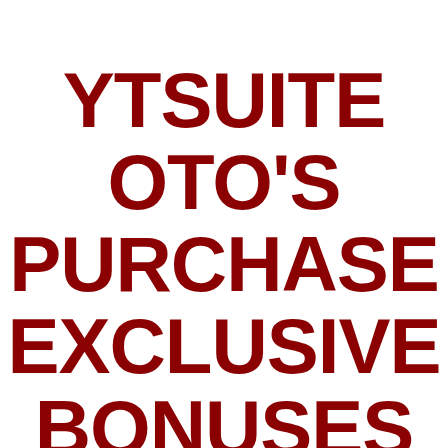YTSUITE OTO'S PURCHASE EXCLUSIVE BONUSES